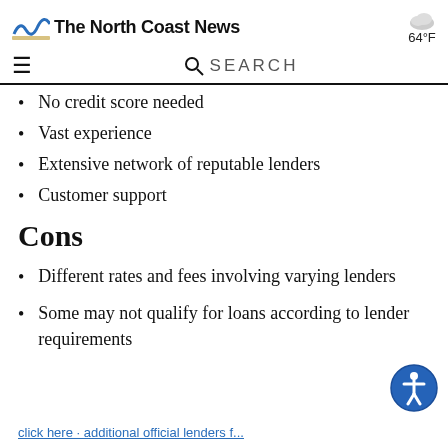The North Coast News | 64°F
No credit score needed
Vast experience
Extensive network of reputable lenders
Customer support
Cons
Different rates and fees involving varying lenders
Some may not qualify for loans according to lender requirements